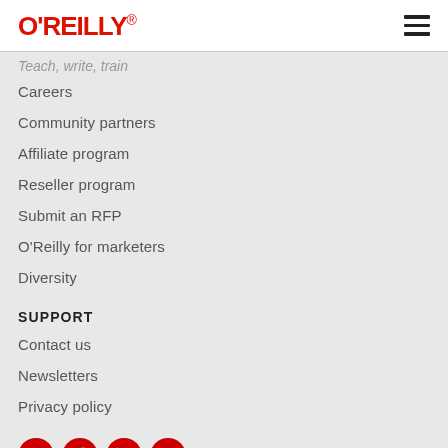O'REILLY
Teach, write, train
Careers
Community partners
Affiliate program
Reseller program
Submit an RFP
O'Reilly for marketers
Diversity
SUPPORT
Contact us
Newsletters
Privacy policy
[Figure (illustration): Social media icons row: Twitter, Facebook, LinkedIn, YouTube — all red circles with white icons]